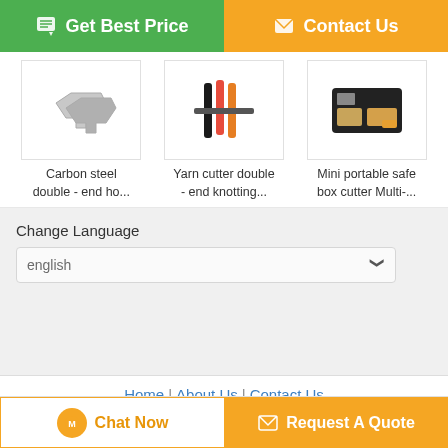[Figure (screenshot): Get Best Price button (green) and Contact Us button (orange) at the top]
[Figure (photo): Carbon steel double-end hook product thumbnail]
Carbon steel double - end ho...
[Figure (photo): Yarn cutter double-end knotting product thumbnail]
Yarn cutter double - end knotting...
[Figure (photo): Mini portable safe box cutter Multi product thumbnail]
Mini portable safe box cutter Multi-...
Change Language
english
Home | About Us | Contact Us
Desktop View
China Box cutter, art blade, cutter blade Supplier. Copyright © 2016 - 2022 hahaoyang.com. All rights reserved. Developed by ECER
[Figure (screenshot): Chat Now button (white/orange border) and Request A Quote button (orange) at the bottom]